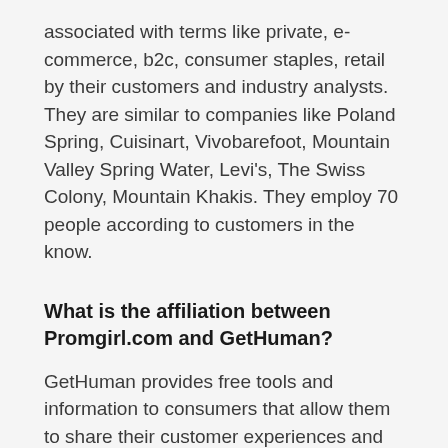associated with terms like private, e-commerce, b2c, consumer staples, retail by their customers and industry analysts. They are similar to companies like Poland Spring, Cuisinart, Vivobarefoot, Mountain Valley Spring Water, Levi's, The Swiss Colony, Mountain Khakis. They employ 70 people according to customers in the know.
What is the affiliation between Promgirl.com and GetHuman?
GetHuman provides free tools and information to consumers that allow them to share their customer experiences and tips with each other for how to contact companies faster and how to solve common problems. GetHuman's relationship is with